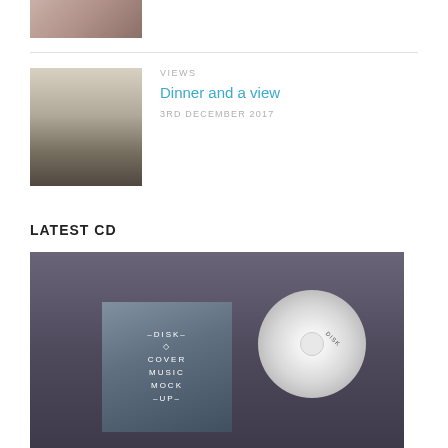[Figure (photo): Partial top image, cropped photo showing a pen or stylus on a surface]
[Figure (photo): Thumbnail photo of a restaurant or dining room interior with chairs and windows]
VIEWS
Dinner and a view
3RD DECEMBER 2017
LATEST CD
[Figure (photo): CD mockup showing a disk cover card with text -DISK- COVER MUSIC MOCK -UP- and a white CD disc with DISK label, on dark grey background]